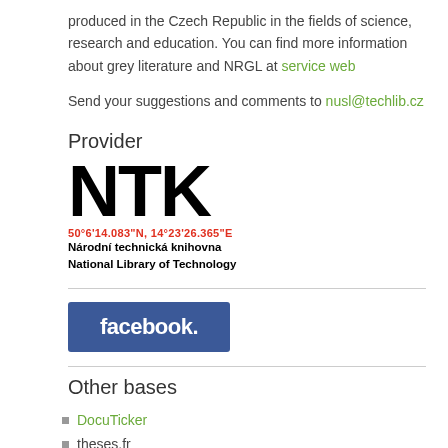produced in the Czech Republic in the fields of science, research and education. You can find more information about grey literature and NRGL at service web
Send your suggestions and comments to nusl@techlib.cz
Provider
[Figure (logo): NTK (Národní technická knihovna / National Library of Technology) logo with coordinates 50°6'14.083"N, 14°23'26.365"E]
[Figure (logo): Facebook logo - blue rectangle with white 'facebook.' text]
Other bases
DocuTicker
theses.fr